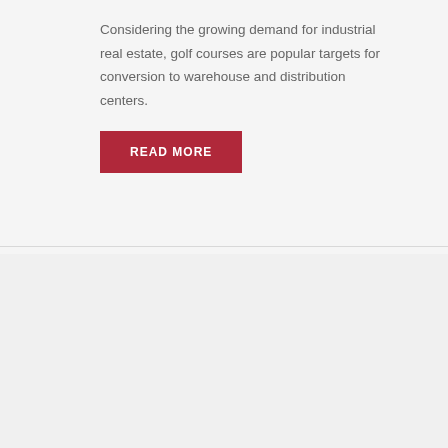Considering the growing demand for industrial real estate, golf courses are popular targets for conversion to warehouse and distribution centers.
[Figure (other): Red 'READ MORE' button]
Invested in Industrial
Fall 2021
Intense competition and strong fundamentals are driving industrial sale prices ever higher.
[Figure (other): Red 'READ MORE' button (partially visible at bottom)]